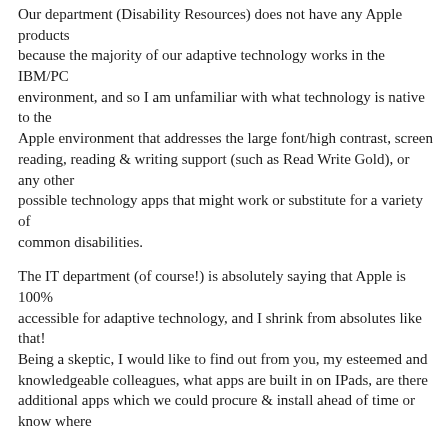Our department (Disability Resources) does not have any Apple products because the majority of our adaptive technology works in the IBM/PC environment, and so I am unfamiliar with what technology is native to the Apple environment that addresses the large font/high contrast, screen reading, reading & writing support (such as Read Write Gold), or any other possible technology apps that might work or substitute for a variety of common disabilities.
The IT department (of course!) is absolutely saying that Apple is 100% accessible for adaptive technology, and I shrink from absolutes like that! Being a skeptic, I would like to find out from you, my esteemed and knowledgeable colleagues, what apps are built in on IPads, are there additional apps which we could procure & install ahead of time or know where